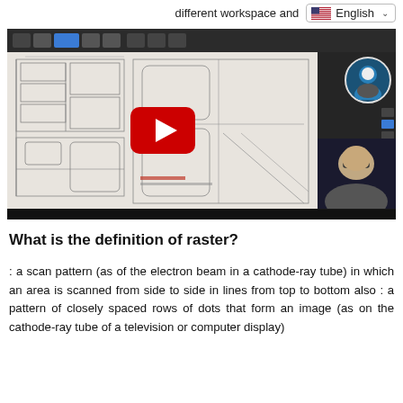different workspace and  English
[Figure (screenshot): YouTube video thumbnail showing an AutoCAD drawing/engineering diagram with a play button overlay. A dark toolbar is at the top, a drawing canvas showing floor plans occupies the main area, with a sidebar on the right showing a person avatar circle and a webcam view of a bald man in the lower right.]
What is the definition of raster?
: a scan pattern (as of the electron beam in a cathode-ray tube) in which an area is scanned from side to side in lines from top to bottom also : a pattern of closely spaced rows of dots that form an image (as on the cathode-ray tube of a television or computer display)